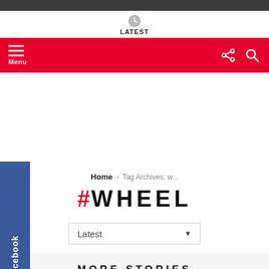LATEST
Menu
Facebook
Home › Tag Archives: w...
#WHEEL
Latest
MORE STORIES
[Figure (photo): A silver bicycle with red accent brake cables, showing handlebars, seat, and front frame, partially cropped]